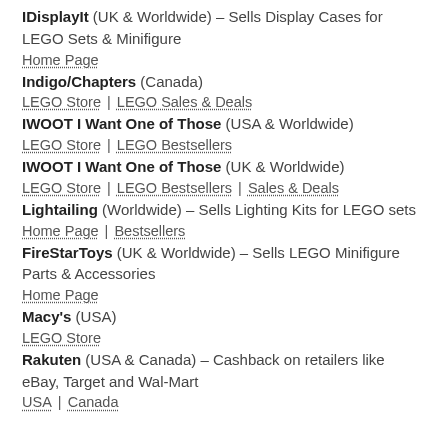IDisplayIt (UK & Worldwide) – Sells Display Cases for LEGO Sets & Minifigure
Home Page
Indigo/Chapters (Canada)
LEGO Store | LEGO Sales & Deals
IWOOT I Want One of Those (USA & Worldwide)
LEGO Store | LEGO Bestsellers
IWOOT I Want One of Those (UK & Worldwide)
LEGO Store | LEGO Bestsellers | Sales & Deals
Lightailing (Worldwide) – Sells Lighting Kits for LEGO sets
Home Page | Bestsellers
FireStarToys (UK & Worldwide) – Sells LEGO Minifigure Parts & Accessories
Home Page
Macy's (USA)
LEGO Store
Rakuten (USA & Canada) – Cashback on retailers like eBay, Target and Wal-Mart
USA | Canada